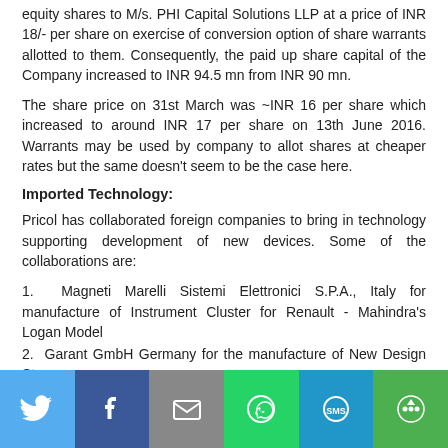equity shares to M/s. PHI Capital Solutions LLP at a price of INR 18/- per share on exercise of conversion option of share warrants allotted to them. Consequently, the paid up share capital of the Company increased to INR 94.5 mn from INR 90 mn.
The share price on 31st March was ~INR 16 per share which increased to around INR 17 per share on 13th June 2016. Warrants may be used by company to allot shares at cheaper rates but the same doesn't seem to be the case here.
Imported Technology:
Pricol has collaborated foreign companies to bring in technology supporting development of new devices. Some of the collaborations are:
1. Magneti Marelli Sistemi Elettronici S.P.A., Italy for manufacture of Instrument Cluster for Renault - Mahindra's Logan Model
2. Garant GmbH Germany for the manufacture of New Design Stepper
[Figure (infographic): Social sharing bar with icons for Twitter, Facebook, Email, WhatsApp, SMS, and More (share)]